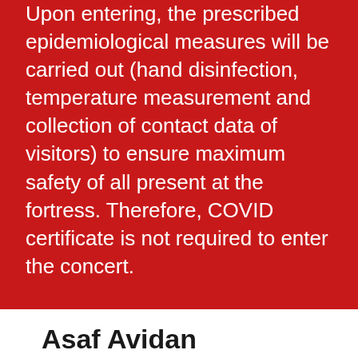Upon entering, the prescribed epidemiological measures will be carried out (hand disinfection, temperature measurement and collection of contact data of visitors) to ensure maximum safety of all present at the fortress. Therefore, COVID certificate is not required to enter the concert.
Asaf Avidan
TICKETS: 260 HRK
The one day will finally come in August 2021 - Israeli singer/songwriter Asaf Avidan is coming to Croatia for the first time!